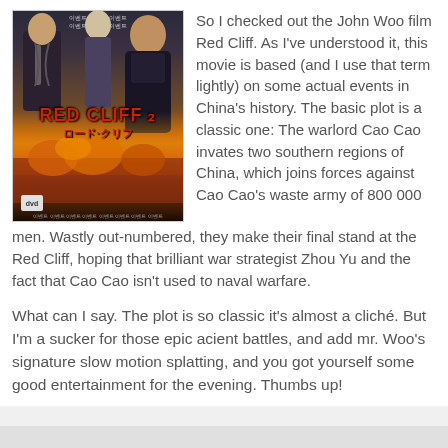[Figure (photo): DVD cover of the film 'Red Cliff' (Red Cliff II) showing three figures in martial arts attire against a fiery background with the title in red text]
So I checked out the John Woo film Red Cliff. As I've understood it, this movie is based (and I use that term lightly) on some actual events in China's history. The basic plot is a classic one: The warlord Cao Cao invates two southern regions of China, which joins forces against Cao Cao's waste army of 800 000 men. Wastly out-numbered, they make their final stand at the Red Cliff, hoping that brilliant war strategist Zhou Yu and the fact that Cao Cao isn't used to naval warfare.
What can I say. The plot is so classic it's almost a cliché. But I'm a sucker for those epic acient battles, and add mr. Woo's signature slow motion splatting, and you got yourself some good entertainment for the evening. Thumbs up!